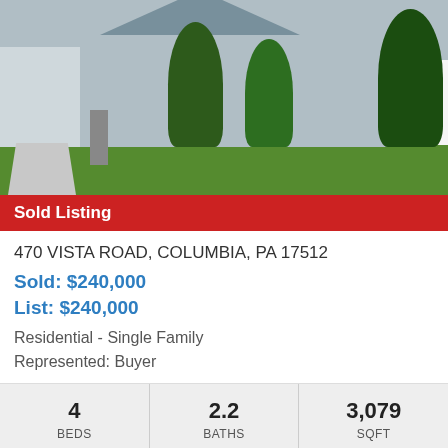[Figure (photo): Exterior photo of a single-family residential home with green lawn, evergreen trees, attached garage, and stone/siding facade]
Sold Listing
470 VISTA ROAD, COLUMBIA, PA 17512
Sold: $240,000
List: $240,000
Residential - Single Family
Represented: Buyer
| BEDS | BATHS | SQFT |
| --- | --- | --- |
| 4 | 2.2 | 3,079 |
150 E JAMES STREET, LANCASTER, PA 17602
[Figure (photo): Partial exterior photo of next listing property]